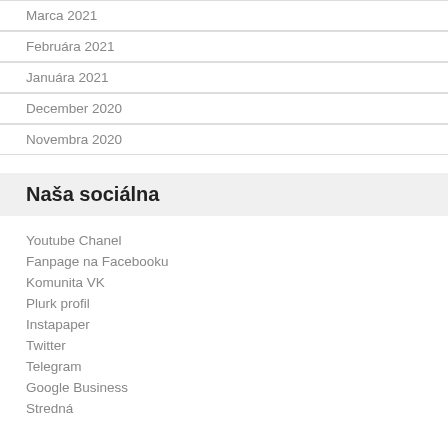Marca 2021
Februára 2021
Januára 2021
December 2020
Novembra 2020
Naša sociálna
Youtube Chanel
Fanpage na Facebooku
Komunita VK
Plurk profil
Instapaper
Twitter
Telegram
Google Business
Stredná